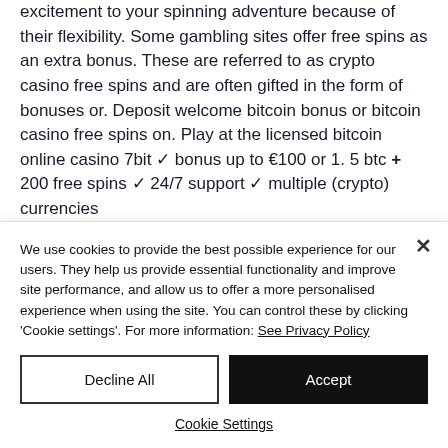excitement to your spinning adventure because of their flexibility. Some gambling sites offer free spins as an extra bonus. These are referred to as crypto casino free spins and are often gifted in the form of bonuses or. Deposit welcome bitcoin bonus or bitcoin casino free spins on. Play at the licensed bitcoin online casino 7bit ✓ bonus up to €100 or 1. 5 btc + 200 free spins ✓ 24/7 support ✓ multiple (crypto) currencies
We use cookies to provide the best possible experience for our users. They help us provide essential functionality and improve site performance, and allow us to offer a more personalised experience when using the site. You can control these by clicking 'Cookie settings'. For more information: See Privacy Policy
Decline All
Accept
Cookie Settings